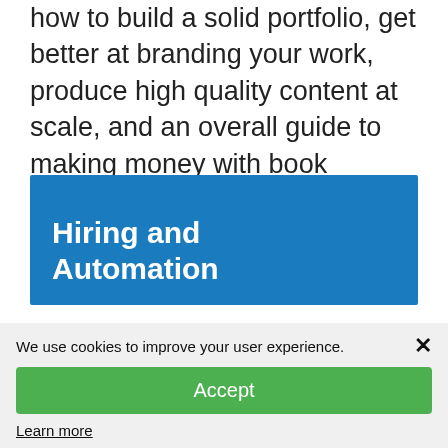how to build a solid portfolio, get better at branding your work, produce high quality content at scale, and an overall guide to making money with book publishing.
Hiring and Automation
There are software tools that you can
We use cookies to improve your user experience.
Accept
Learn more